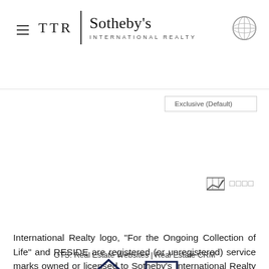TTR | Sotheby's International Realty
[Figure (screenshot): Exclusive (Default) dropdown button UI element]
[Figure (screenshot): Map icon with Japanese characters]
International Realty logo, "For the Ongoing Collection of Life" and RESIDE are registered (or unregistered) service marks owned or licensed to Sotheby's International Realty Affiliates LLC.
[Figure (logo): Equal Housing Opportunity logo and REALTOR logo]
GTS: Real Estate Websites | Real Estate CRM